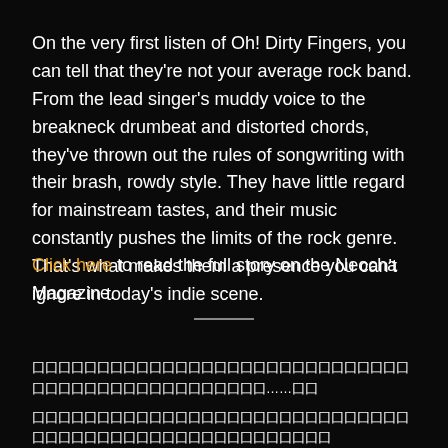On the very first listen of Oh! Dirty Fingers, you can tell that they're not your average rock band. From the lead singer's muddy voice to the breakneck drumbeat and distorted chords, they've thrown out the rules of songwriting with their brash, rowdy style. They have little regard for mainstream tastes, and their music constantly pushes the limits of the rock genre. That's what makes them a presence you can't ignore in today's indie scene.
Click here to read the full story on the Neocha Magazine.
□□□□□□□□□□□□□□□□□□□□□□□□□□□□□□□□□□□□□□□□□□□□□□□□□□……□□ □□□□□□□□□□□□□□□□□□□□□□□□□□□□□□□□□□□□□□□□□□□□□□□□□□□□ □□□□□□□□□□□□□□□□□□□□□□□□□